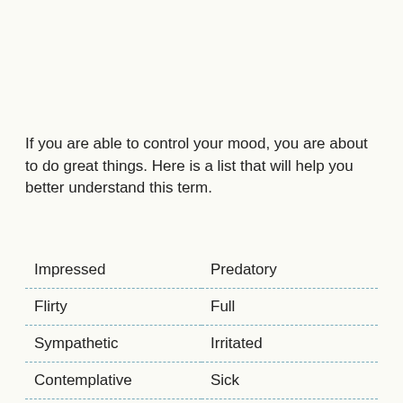If you are able to control your mood, you are about to do great things. Here is a list that will help you better understand this term.
| Impressed | Predatory |
| Flirty | Full |
| Sympathetic | Irritated |
| Contemplative | Sick |
| Curious | Chilled |
| Annoyed | Shocked |